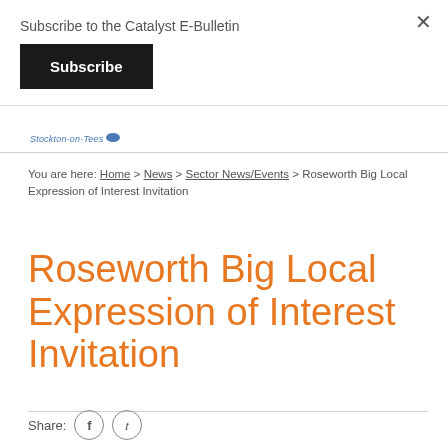Subscribe to the Catalyst E-Bulletin
Subscribe
[Figure (logo): Stockton-on-Tees council logo with blue oval mark]
You are here: Home > News > Sector News/Events > Roseworth Big Local Expression of Interest Invitation
Roseworth Big Local Expression of Interest Invitation
Share: